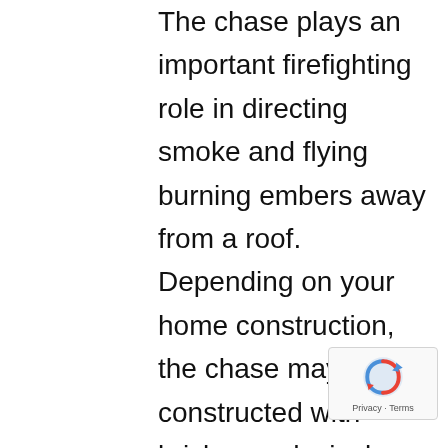The chase plays an important firefighting role in directing smoke and flying burning embers away from a roof. Depending on your home construction, the chase may be constructed with brick, wood, vinyl or metal siding. The chase cover is a steel or aluminum square or rectangle-shaped cap that fits snugly on top of the chase to help shield the chimney chase cover from water leaks. The chimney cap acts like an umbrella to help avert snow, rain, water,